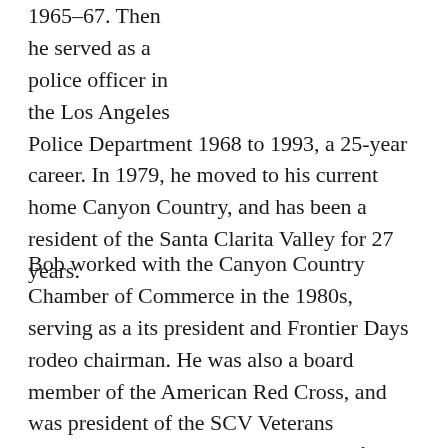1965-67. Then he served as a police officer in the Los Angeles Police Department 1968 to 1993, a 25-year career. In 1979, he moved to his current home Canyon Country, and has been a resident of the Santa Clarita Valley for 27 years.
Bob worked with the Canyon Country Chamber of Commerce in the 1980s, serving as a its president and Frontier Days rodeo chairman. He was also a board member of the American Red Cross, and was president of the SCV Veterans Committee. He served on the board of the Henry Mayo Newhall Memorial Health Foundation, on the board of the American